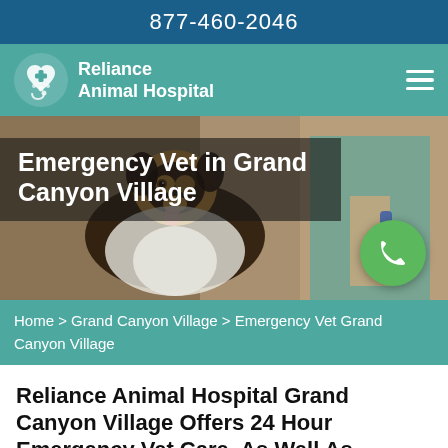877-460-2046
[Figure (logo): Reliance Animal Hospital logo with heart, paw, and stethoscope icon in white on teal background]
[Figure (photo): Hero image of a dog (collie/shepherd breed) being groomed by a person in a teal shirt, with overlay text 'Emergency Vet in Grand Canyon Village' and a green phone call button]
Home > Grand Canyon Village > Emergency Vet Grand Canyon Village
Reliance Animal Hospital Grand Canyon Village Offers 24 Hour Emergency Vet Care, As Well As Routine Veterinary